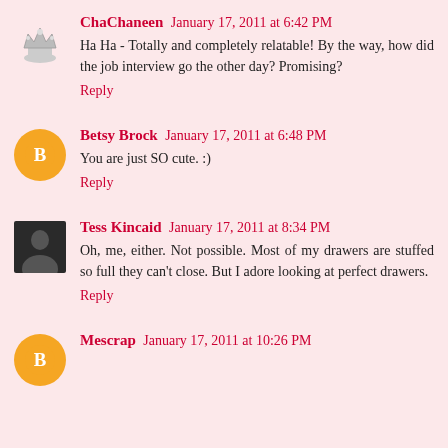ChaChaneen  January 17, 2011 at 6:42 PM
Ha Ha - Totally and completely relatable! By the way, how did the job interview go the other day? Promising?
Reply
Betsy Brock  January 17, 2011 at 6:48 PM
You are just SO cute. :)
Reply
Tess Kincaid  January 17, 2011 at 8:34 PM
Oh, me, either. Not possible. Most of my drawers are stuffed so full they can't close. But I adore looking at perfect drawers.
Reply
Mescrap  January 17, 2011 at 10:26 PM